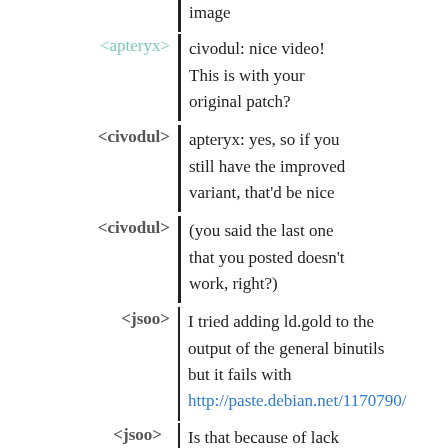image
<apteryx> civodul: nice video! This is with your original patch?
<civodul> apteryx: yes, so if you still have the improved variant, that'd be nice
<civodul> (you said the last one that you posted doesn't work, right?)
<jsoo> I tried adding ld.gold to the output of the general binutils but it fails with http://paste.debian.net/1170790/
<jsoo> Is that because of lack of reference to gcc?